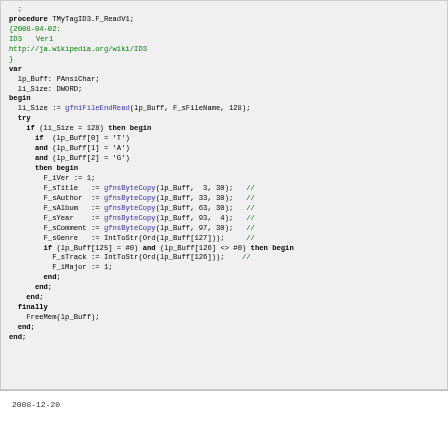[Figure (screenshot): Code block showing Pascal/Delphi procedure TMyTagID3.F_ReadV1 with syntax highlighting. Keywords in bold black, comments in green, function calls in blue.]
2008-12-20